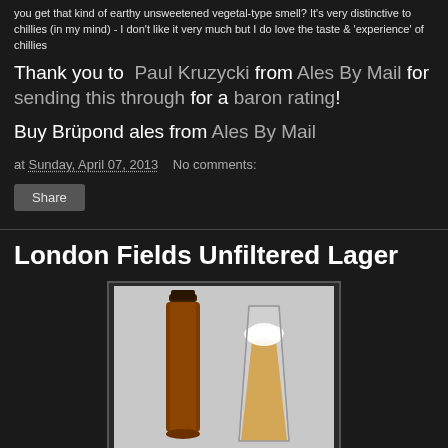you get that kind of earthy unsweetened vegetal-type smell? It's very distinctive to chillies (in my mind) - I don't like it very much but I do love the taste & 'experience' of chillies
Thank you to Paul Kruzycki from Ales By Mail for sending this through for a baron rating!
Buy Brüpond ales from Ales By Mail
at Sunday, April 07, 2013   No comments:
Share
London Fields Unfiltered Lager
[Figure (photo): A brown beer bottle next to a glass of unfiltered lager with a white head, on a light grey background]